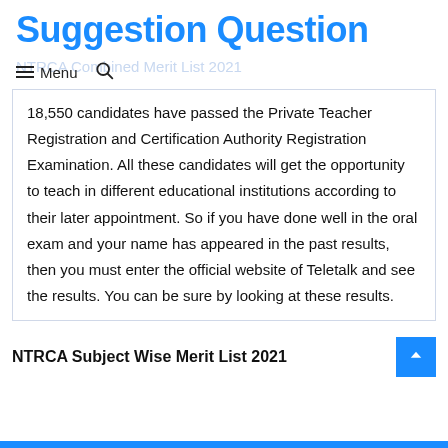Suggestion Question
NTRCA Combined Merit List 2021
18,550 candidates have passed the Private Teacher Registration and Certification Authority Registration Examination. All these candidates will get the opportunity to teach in different educational institutions according to their later appointment. So if you have done well in the oral exam and your name has appeared in the past results, then you must enter the official website of Teletalk and see the results. You can be sure by looking at these results.
NTRCA Subject Wise Merit List 2021